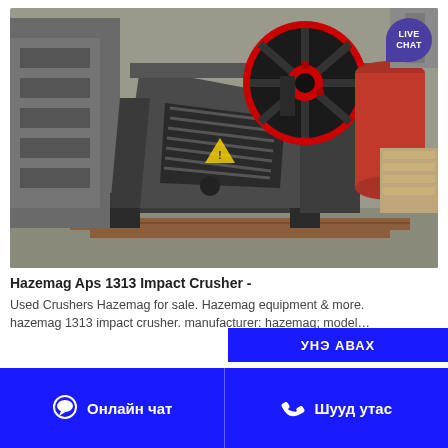[Figure (photo): Photo of a Hazemag Aps 1313 Impact Crusher — a large industrial jaw/impact crusher machine colored dark gray and black with a prominent flywheel with red ring/accents, photographed in a factory/warehouse setting. A 'LIVE CHAT' badge overlay appears in the top-right corner.]
Hazemag Aps 1313 Impact Crusher -
Used Crushers Hazemag for sale. Hazemag equipment & more. hazemag 1313 impact crusher. manufacturer: hazemag; model...
УНЭ АВАХ
Онлайн чат
Шууд утас